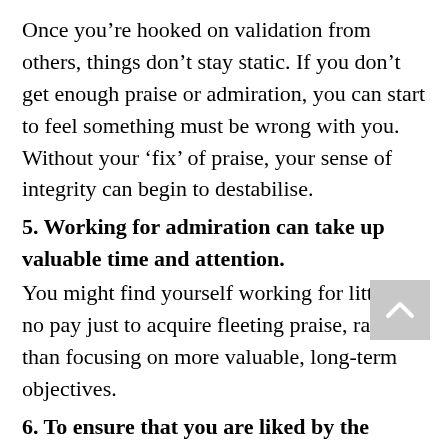Once you're hooked on validation from others, things don't stay static. If you don't get enough praise or admiration, you can start to feel something must be wrong with you. Without your 'fix' of praise, your sense of integrity can begin to destabilise.
5. Working for admiration can take up valuable time and attention.
You might find yourself working for little or no pay just to acquire fleeting praise, rather than focusing on more valuable, long-term objectives.
6. To ensure that you are liked by the masses, you follow trends and never break into personal success outside those trends.